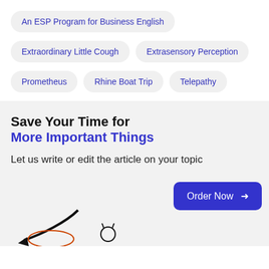An ESP Program for Business English
Extraordinary Little Cough
Extrasensory Perception
Prometheus
Rhine Boat Trip
Telepathy
Save Your Time for More Important Things
Let us write or edit the article on your topic
Order Now →